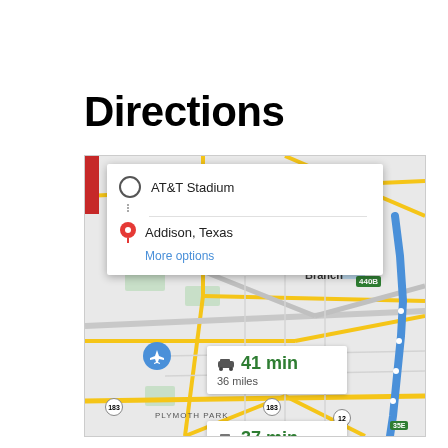Directions
[Figure (map): Google Maps screenshot showing directions from AT&T Stadium to Addison, Texas. Map shows the Dallas/Fort Worth area including Valley Ranch, Farmers Branch, Carrollton, and North Dallas neighborhoods. Two route options are displayed: 41 min / 36 miles and 37 min / 29.6 miles. A blue route line is highlighted. A popup card shows origin 'AT&T Stadium' and destination 'Addison, Texas' with a 'More options' link.]